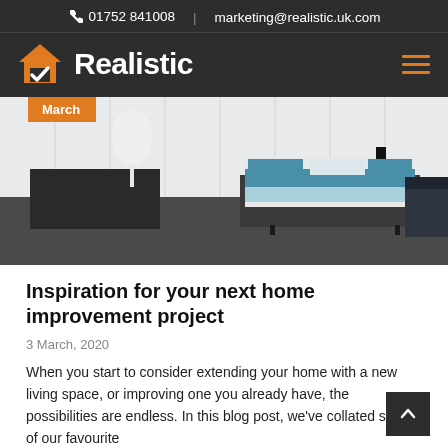01752 841008  |  marketing@realistic.uk.com
[Figure (logo): Realistic company logo with orange house checkmark icon and white bold text 'Realistic' on dark background, with orange hamburger menu icon on right]
[Figure (photo): Interior bedroom photo showing a bed with blue and white bedding, dark furniture, white decorative tree, and a sofa on the right side. Orange 'March' badge overlay in top-left corner.]
Inspiration for your next home improvement project
3 March, 2020
When you start to consider extending your home with a new living space, or improving one you already have, the possibilities are endless. In this blog post, we've collated some of our favourite